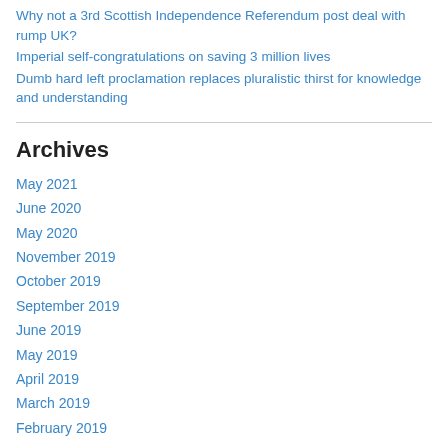Why not a 3rd Scottish Independence Referendum post deal with rump UK?
Imperial self-congratulations on saving 3 million lives
Dumb hard left proclamation replaces pluralistic thirst for knowledge and understanding
Archives
May 2021
June 2020
May 2020
November 2019
October 2019
September 2019
June 2019
May 2019
April 2019
March 2019
February 2019